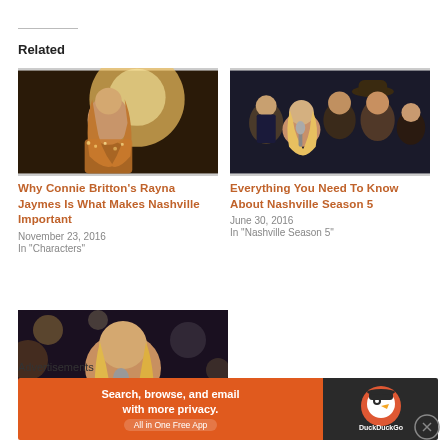Related
[Figure (photo): Photo of Connie Britton as Rayna Jaymes, woman with long blonde hair in glittery outfit with stage lighting]
Why Connie Britton's Rayna Jaymes Is What Makes Nashville Important
November 23, 2016
In "Characters"
[Figure (photo): Group photo of Nashville cast members including Connie Britton and other performers]
Everything You Need To Know About Nashville Season 5
June 30, 2016
In "Nashville Season 5"
[Figure (photo): Woman with blonde hair singing into microphone]
Advertisements
[Figure (screenshot): DuckDuckGo advertisement: Search, browse, and email with more privacy. All in One Free App]